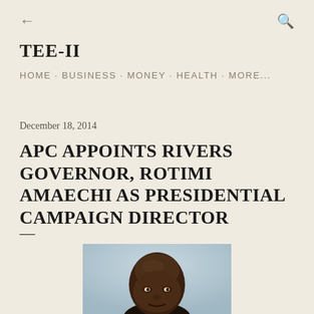← TEE-II HOME · BUSINESS · MONEY · HEALTH · MORE...
December 18, 2014
APC APPOINTS RIVERS GOVERNOR, ROTIMI AMAECHI AS PRESIDENTIAL CAMPAIGN DIRECTOR
[Figure (photo): Portrait photo of Rotimi Amaechi, a bald Black man in a suit, photographed against a light background]